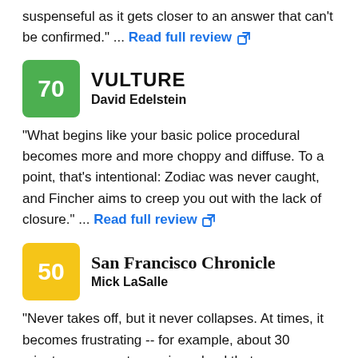suspenseful as it gets closer to an answer that can't be confirmed." ... Read full review
Vulture | David Edelstein | Score: 70
"What begins like your basic police procedural becomes more and more choppy and diffuse. To a point, that's intentional: Zodiac was never caught, and Fincher aims to creep you out with the lack of closure." ... Read full review
San Francisco Chronicle | Mick LaSalle | Score: 50
"Never takes off, but it never collapses. At times, it becomes frustrating -- for example, about 30 minutes are spent pursuing a lead that goes nowhere." ... Read full review